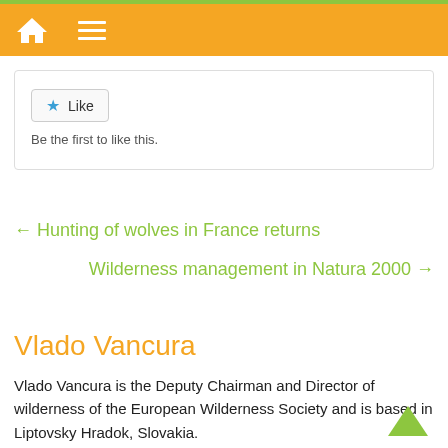[Figure (screenshot): Orange navigation bar with white home icon and hamburger menu icon]
[Figure (screenshot): Like button with blue star icon and text 'Be the first to like this.']
Be the first to like this.
← Hunting of wolves in France returns
Wilderness management in Natura 2000 →
Vlado Vancura
Vlado Vancura is the Deputy Chairman and Director of wilderness of the European Wilderness Society and is based in Liptovsky Hradok, Slovakia.